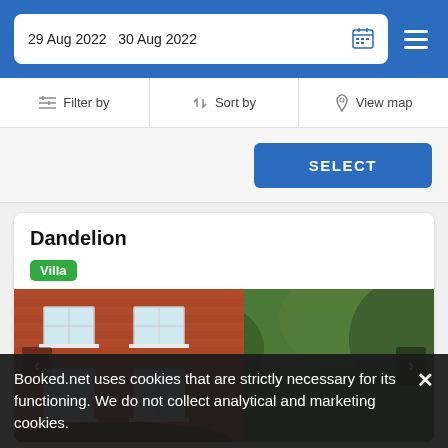29 Aug 2022  30 Aug 2022
Filter by  Sort by  View map
SELECT
Dandelion
Villa
[Figure (photo): Exterior photo of a red brick building with white-framed windows and large trees in front, with blue sky visible]
Booked.net uses cookies that are strictly necessary for its functioning. We do not collect analytical and marketing cookies.